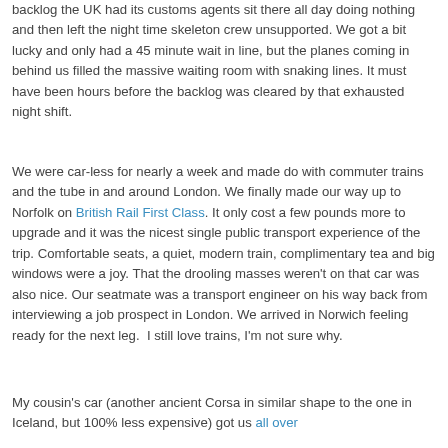backlog the UK had its customs agents sit there all day doing nothing and then left the night time skeleton crew unsupported. We got a bit lucky and only had a 45 minute wait in line, but the planes coming in behind us filled the massive waiting room with snaking lines. It must have been hours before the backlog was cleared by that exhausted night shift.
We were car-less for nearly a week and made do with commuter trains and the tube in and around London. We finally made our way up to Norfolk on British Rail First Class. It only cost a few pounds more to upgrade and it was the nicest single public transport experience of the trip. Comfortable seats, a quiet, modern train, complimentary tea and big windows were a joy. That the drooling masses weren't on that car was also nice. Our seatmate was a transport engineer on his way back from interviewing a job prospect in London. We arrived in Norwich feeling ready for the next leg.  I still love trains, I'm not sure why.
My cousin's car (another ancient Corsa in similar shape to the one in Iceland, but 100% less expensive) got us all over